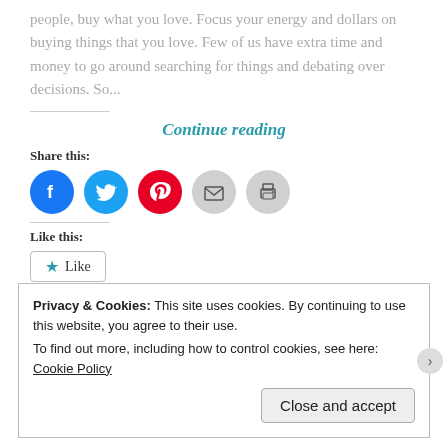people, buy what you love. Focus your energy and dollars on buying things that you love. Few of us have extra time and money to go around searching for things and debating over decisions. So...
Continue reading
Share this:
[Figure (infographic): Social sharing icons: Facebook (blue circle), Twitter (light blue circle), Pinterest (red circle), Email (grey circle), Print (grey circle)]
Like this:
[Figure (infographic): Like button with star icon and text 'Like']
Be the first to like this.
Privacy & Cookies: This site uses cookies. By continuing to use this website, you agree to their use.
To find out more, including how to control cookies, see here: Cookie Policy
Close and accept